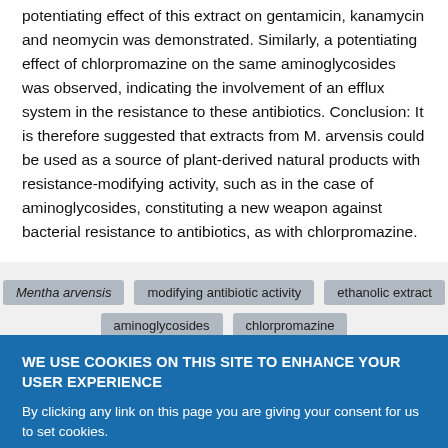potentiating effect of this extract on gentamicin, kanamycin and neomycin was demonstrated. Similarly, a potentiating effect of chlorpromazine on the same aminoglycosides was observed, indicating the involvement of an efflux system in the resistance to these antibiotics. Conclusion: It is therefore suggested that extracts from M. arvensis could be used as a source of plant-derived natural products with resistance-modifying activity, such as in the case of aminoglycosides, constituting a new weapon against bacterial resistance to antibiotics, as with chlorpromazine.
Mentha arvensis
modifying antibiotic activity
ethanolic extract
aminoglycosides
chlorpromazine
WE USE COOKIES ON THIS SITE TO ENHANCE YOUR USER EXPERIENCE
By clicking any link on this page you are giving your consent for us to set cookies.